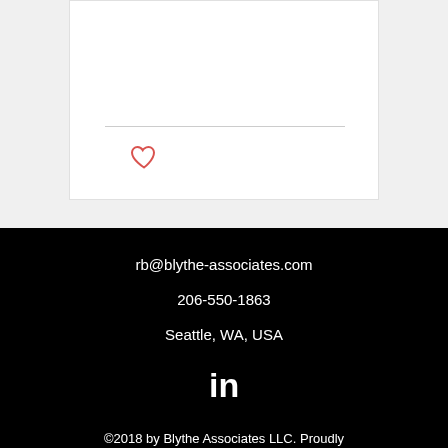[Figure (illustration): White card area with a horizontal divider line and a red heart outline icon below the divider]
rb@blythe-associates.com
206-550-1863
Seattle, WA, USA
©2018 by Blythe Associates LLC. Proudly created with Wix.com